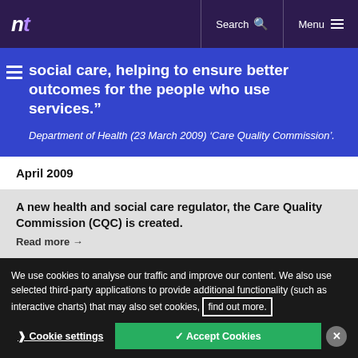nt | Search | Menu
social care, helping to ensure better outcomes for the people who use services."
Department of Health (23 March 2009) 'Care Quality Commission'.
April 2009
A new health and social care regulator, the Care Quality Commission (CQC) is created.
Read more
We use cookies to analyse our traffic and improve our content. We also use selected third-party applications to provide additional functionality (such as interactive charts) that may also set cookies, find out more.
Cookie settings
✓ Accept Cookies